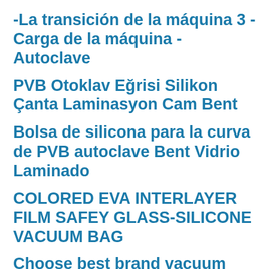-La transición de la máquina 3 - Carga de la máquina -Autoclave
PVB Otoklav Eğrisi Silikon Çanta Laminasyon Cam Bent
Bolsa de silicona para la curva de PVB autoclave Bent Vidrio Laminado
COLORED EVA INTERLAYER FILM SAFEY GLASS-SILICONE VACUUM BAG
Choose best brand vacuum pump. German LEYBOLD brand vacuum pump is very good